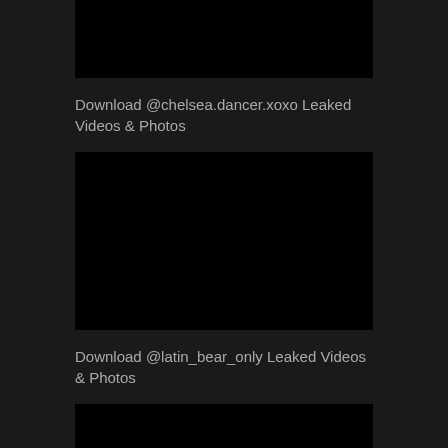[Figure (photo): Black rectangle image placeholder at top]
Download @chelsea.dancer.xoxo Leaked Videos & Photos
[Figure (photo): Black rectangle image placeholder in middle]
Download @latin_bear_only Leaked Videos & Photos
[Figure (photo): Black rectangle image placeholder at bottom]